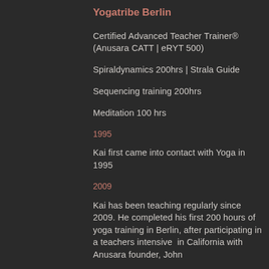Yogatribe Berlin
Certified Advanced Teacher Trainer® (Anusara CATT | eRYT 500)
Spiraldynamics 200hrs | Strala Guide
Sequencing training 200hrs
Meditation 100 hrs
1995
Kai first came into contact with Yoga in 1995
2009
Kai has been teaching regularly since 2009. He completed his first 200 hours of yoga training in Berlin, after participating in a teachers intensive  in California with Anusara founder, John